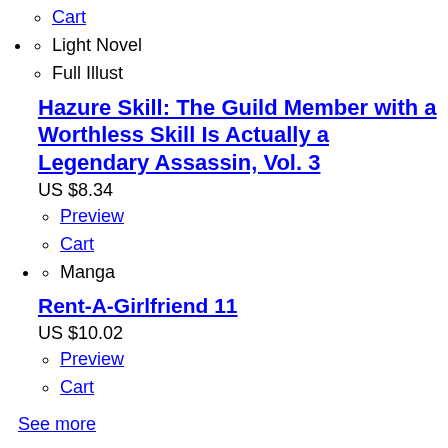Cart
Light Novel
Full Illust
Hazure Skill: The Guild Member with a Worthless Skill Is Actually a Legendary Assassin, Vol. 3
US $8.34
Preview
Cart
Manga
Rent-A-Girlfriend 11
US $10.02
Preview
Cart
See more
On Sale